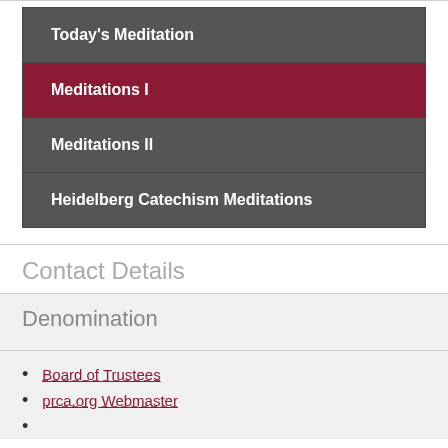Today's Meditation
Meditations I
Meditations II
Heidelberg Catechism Meditations
Contact Details
Denomination
Board of Trustees
prca.org Webmaster